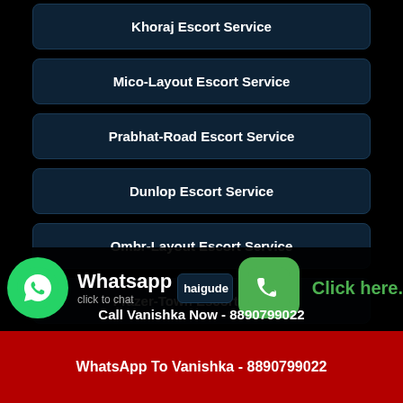Khoraj Escort Service
Mico-Layout Escort Service
Prabhat-Road Escort Service
Dunlop Escort Service
Ombr-Layout Escort Service
Frazer-Town Escort Service
Kadappakkam Escort Service
Whatsapp click to chat
...haigude Escort Service
Click here.
Call Vanishka Now - 8890799022
WhatsApp To Vanishka - 8890799022